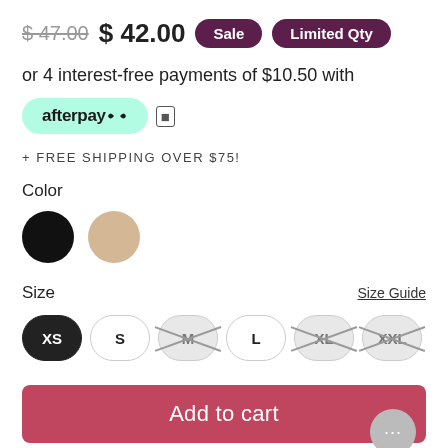$ 47.00  $ 42.00  Sale  Limited Qty
or 4 interest-free payments of $10.50 with
[Figure (logo): Afterpay logo button with mint green background and info icon]
+ FREE SHIPPING OVER $75!
Color
[Figure (illustration): Two color swatches: black circle and tan/beige circle]
Size  Size Guide
XS  S  M  L  XL  XXL
Add to cart